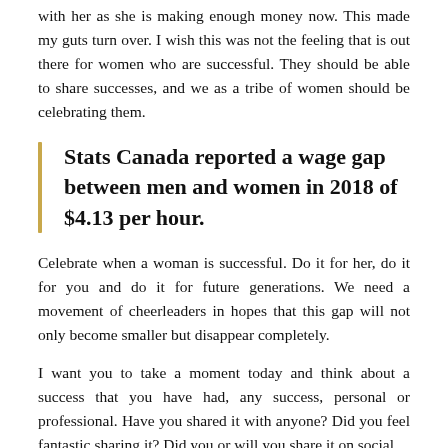with her as she is making enough money now. This made my guts turn over. I wish this was not the feeling that is out there for women who are successful. They should be able to share successes, and we as a tribe of women should be celebrating them.
Stats Canada reported a wage gap between men and women in 2018 of $4.13 per hour.
Celebrate when a woman is successful. Do it for her, do it for you and do it for future generations. We need a movement of cheerleaders in hopes that this gap will not only become smaller but disappear completely.
I want you to take a moment today and think about a success that you have had, any success, personal or professional. Have you shared it with anyone? Did you feel fantastic sharing it? Did you or will you share it on social